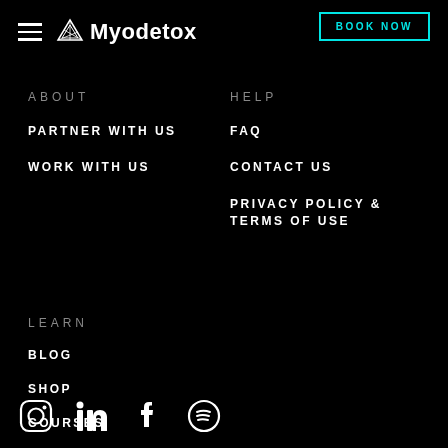Myodetox — BOOK NOW
ABOUT
PARTNER WITH US
WORK WITH US
HELP
FAQ
CONTACT US
PRIVACY POLICY & TERMS OF USE
LEARN
BLOG
SHOP
COURSES
[Figure (infographic): Social media icons: Instagram, LinkedIn, Facebook, Spotify]